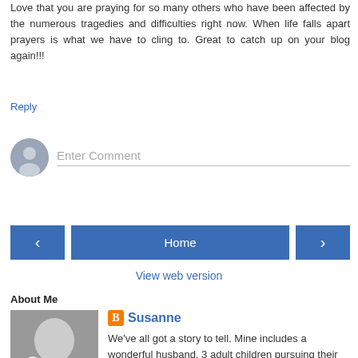Love that you are praying for so many others who have been affected by the numerous tragedies and difficulties right now. When life falls apart prayers is what we have to cling to. Great to catch up on your blog again!!!
Reply
[Figure (other): Comment input area with avatar icon and 'Enter Comment' placeholder text field]
[Figure (other): Navigation buttons: left arrow, Home, right arrow]
View web version
About Me
[Figure (photo): Black and white photo of a woman with a white dog]
Susanne
We've all got a story to tell. Mine includes a wonderful husband, 3 adult children pursuing their dreams, a dayhome with 6 pre-schoolers, one dog, one cat and the grace of a loving God in the midst of it all.